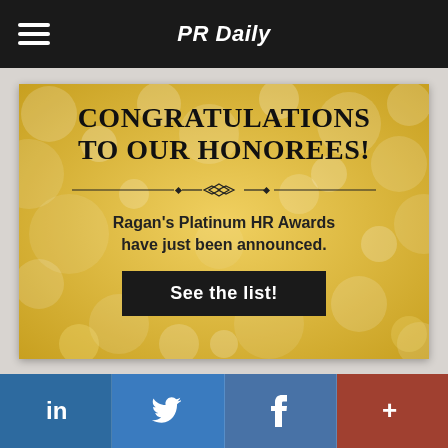PR Daily
[Figure (illustration): Advertisement with golden bokeh background. Bold title 'CONGRATULATIONS TO OUR HONOREES!' with decorative divider, subtitle 'Ragan's Platinum HR Awards have just been announced.' and a dark call-to-action button 'See the list!']
in  (twitter bird)  f  +